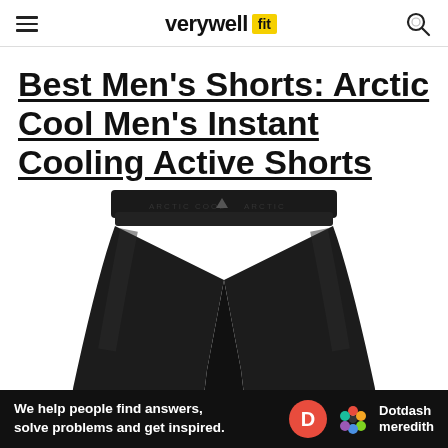verywell fit
Best Men's Shorts: Arctic Cool Men's Instant Cooling Active Shorts
[Figure (photo): Product photo of Arctic Cool Men's Instant Cooling Active Shorts in black, showing elastic waistband with Arctic Cool branding and two-leg cut on white background.]
We help people find answers, solve problems and get inspired.
[Figure (logo): Dotdash Meredith logo with red D circle and colorful flower dots icon, white text on dark background.]